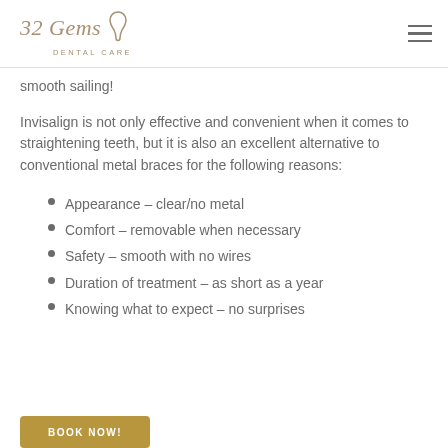32 Gems Dental Care
smooth sailing!
Invisalign is not only effective and convenient when it comes to straightening teeth, but it is also an excellent alternative to conventional metal braces for the following reasons:
Appearance – clear/no metal
Comfort – removable when necessary
Safety – smooth with no wires
Duration of treatment – as short as a year
Knowing what to expect – no surprises